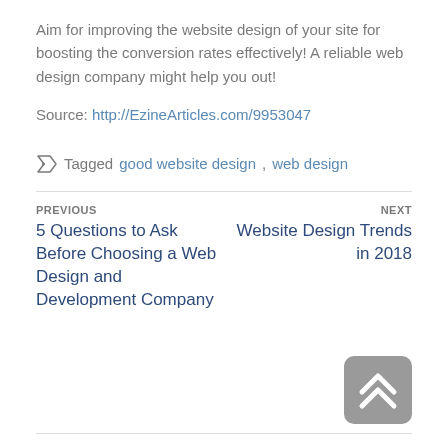Aim for improving the website design of your site for boosting the conversion rates effectively! A reliable web design company might help you out!
Source: http://EzineArticles.com/9953047
Tagged good website design, web design
PREVIOUS
5 Questions to Ask Before Choosing a Web Design and Development Company
NEXT
Website Design Trends in 2018